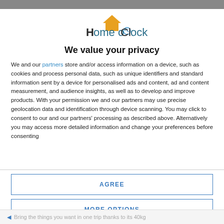[Figure (logo): Home o'Clock logo with orange roof/house icon above stylized text reading 'Home o'Clock' in dark teal and gray]
We value your privacy
We and our partners store and/or access information on a device, such as cookies and process personal data, such as unique identifiers and standard information sent by a device for personalised ads and content, ad and content measurement, and audience insights, as well as to develop and improve products. With your permission we and our partners may use precise geolocation data and identification through device scanning. You may click to consent to our and our partners' processing as described above. Alternatively you may access more detailed information and change your preferences before consenting
AGREE
MORE OPTIONS
Bring the things you want in one trip thanks to its 40kg